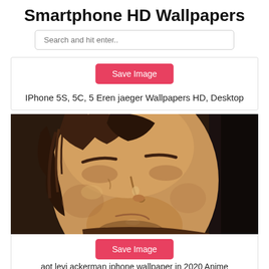Smartphone HD Wallpapers
Search and hit enter..
Save Image
IPhone 5S, 5C, 5 Eren jaeger Wallpapers HD, Desktop
[Figure (illustration): Close-up anime illustration of Eren Jaeger from Attack on Titan, showing his face with brown hair and intense expression against a dark background.]
Save Image
aot levi ackerman iphone wallpaper in 2020 Anime